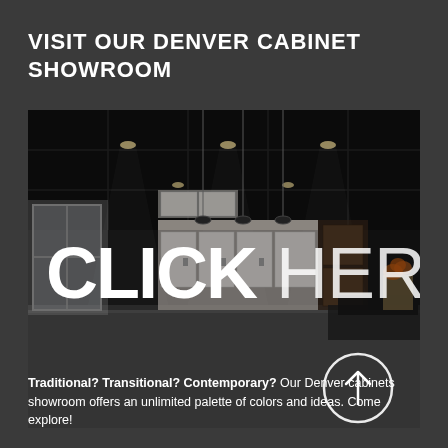VISIT OUR DENVER CABINET SHOWROOM
[Figure (photo): Interior photo of a cabinet showroom with dark ceiling, recessed lighting, and kitchen display areas. Overlaid with large white text 'CLICK HERE' and a circular arrow icon in the bottom right.]
Traditional? Transitional? Contemporary? Our Denver cabinets showroom offers an unlimited palette of colors and ideas. Come explore!